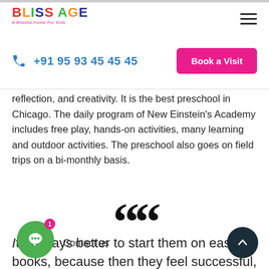[Figure (logo): Bliss Age logo with colorful letters and tagline 'A Blissful Home For Kids']
+91 95 93 45 45 45
Book a Visit
reflection, and creativity. It is the best preschool in Chicago. The daily program of New Einstein's Academy includes free play, hands-on activities, many learning and outdoor activities. The preschool also goes on field trips on a bi-monthly basis.
““
It's always better to start them on easier books, because then they feel successful, and that